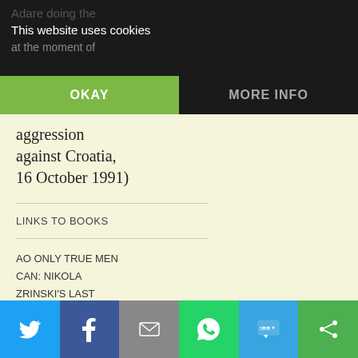This website uses cookies
at the moment of
OKAY
MORE INFO
aggression against Croatia, 16 October 1991)
LINKS TO BOOKS
AO ONLY TRUE MEN CAN: NIKOLA ZRINSKI'S LAST STAND AT SZIGET BY ZELJKO ZIDARIC
Twitter | Facebook | Email | WhatsApp | SMS | Share